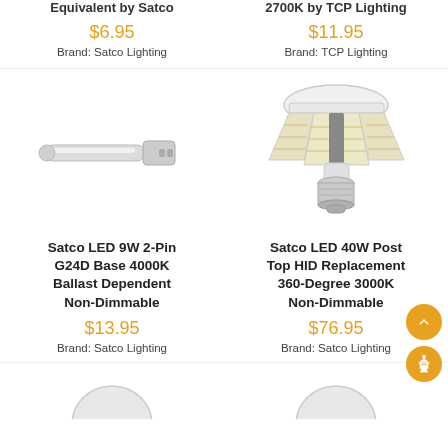Equivalent by Satco
2700K by TCP Lighting
$6.95
$11.95
Brand: Satco Lighting
Brand: TCP Lighting
[Figure (photo): Satco LED 9W 2-Pin G24D Base 4000K Ballast Dependent Non-Dimmable bulb – horizontal tube-style lamp with connector base]
[Figure (photo): Satco LED 40W Post Top HID Replacement 360-Degree 3000K Non-Dimmable bulb – mushroom/post-top style LED with E26 base]
Satco LED 9W 2-Pin G24D Base 4000K Ballast Dependent Non-Dimmable
Satco LED 40W Post Top HID Replacement 360-Degree 3000K Non-Dimmable
$13.95
$76.95
Brand: Satco Lighting
Brand: Satco Lighting
[Figure (photo): Partial view of a white LED bulb at the bottom left]
[Figure (photo): Partial view of a white LED bulb at the bottom right]